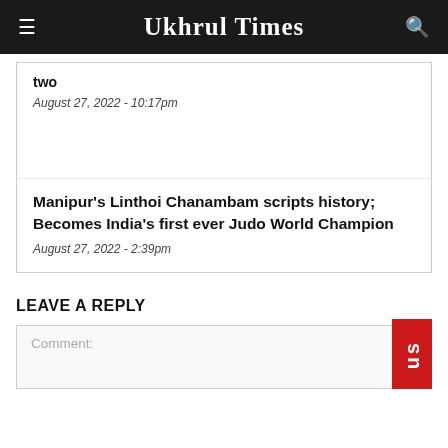Ukhrul Times
two
August 27, 2022 - 10:17pm
Manipur's Linthoi Chanambam scripts history; Becomes India's first ever Judo World Champion
August 27, 2022 - 2:39pm
LEAVE A REPLY
Comment: